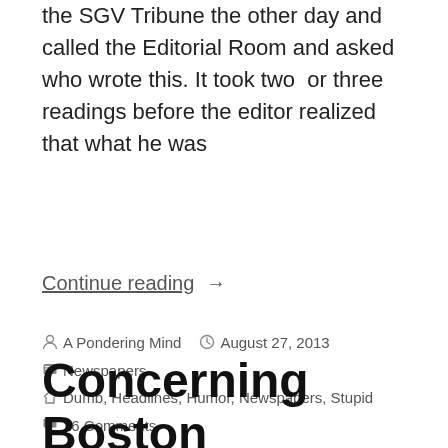the SGV Tribune the other day and called the Editorial Room and asked who wrote this. It took two  or three readings before the editor realized that what he was
Continue reading  →
A Pondering Mind   August 27, 2013
Newspapers
Dumb, Headlines, Humor, Newspapers, Stupid
16 Comments
Concerning Boston Marathon Bomber